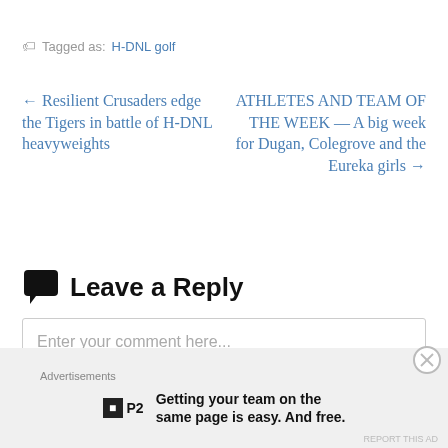Tagged as: H-DNL golf
← Resilient Crusaders edge the Tigers in battle of H-DNL heavyweights
ATHLETES AND TEAM OF THE WEEK — A big week for Dugan, Colegrove and the Eureka girls →
Leave a Reply
Enter your comment here...
Advertisements
Getting your team on the same page is easy. And free.